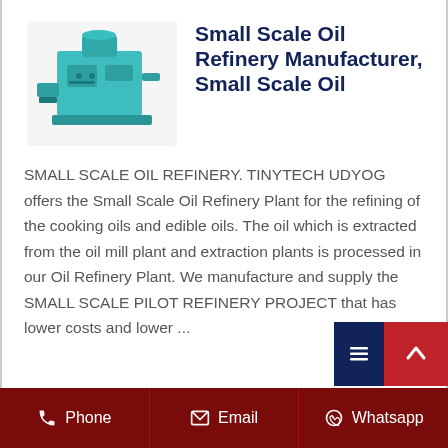[Figure (photo): Teal/turquoise small scale oil refinery machine unit with industrial components]
Small Scale Oil Refinery Manufacturer, Small Scale Oil
SMALL SCALE OIL REFINERY. TINYTECH UDYOG offers the Small Scale Oil Refinery Plant for the refining of the cooking oils and edible oils. The oil which is extracted from the oil mill plant and extraction plants is processed in our Oil Refinery Plant. We manufacture and supply the SMALL SCALE PILOT REFINERY PROJECT that has lower costs and lower ...
Phone  Email  Whatsapp